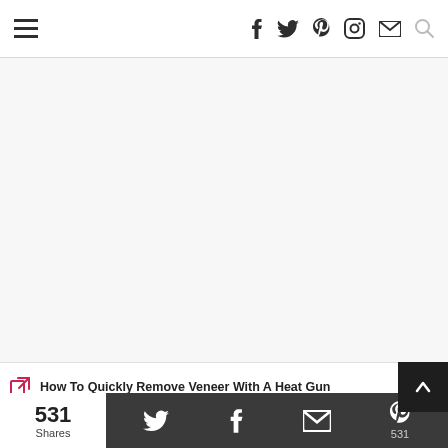Navigation menu and social icons: hamburger menu, f (Facebook), Twitter bird, Pinterest, Instagram, mail, search
[Figure (screenshot): White/light grey empty content area below the header, representing an advertisement or blank page section]
How To Quickly Remove Veneer With A Heat Gun
[Figure (photo): Partial photo strip showing wood veneer surface being removed, brown and tan tones]
531 Shares | Twitter share | Facebook share | Email share | Pinterest 531